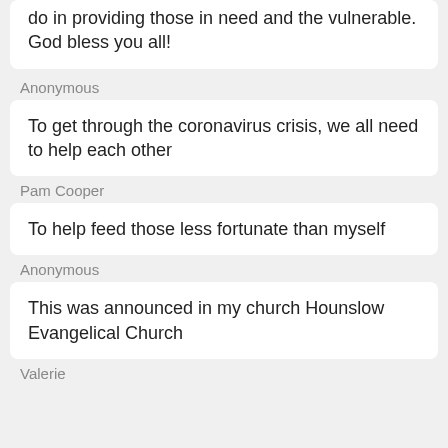do in providing those in need and the vulnerable. God bless you all!
Anonymous
To get through the coronavirus crisis, we all need to help each other
Pam Cooper
To help feed those less fortunate than myself
Anonymous
This was announced in my church Hounslow Evangelical Church
Valerie